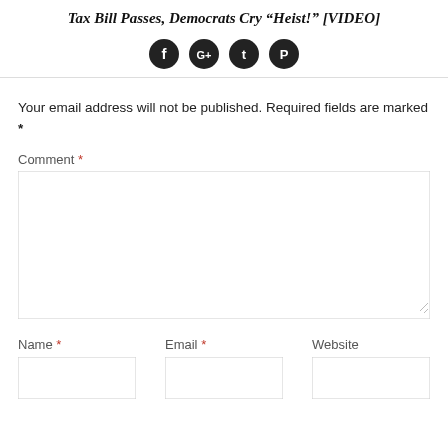Tax Bill Passes, Democrats Cry “Heist!” [VIDEO]
[Figure (infographic): Four circular social media share buttons (Facebook, Google+, Twitter, Pinterest) in dark/black circles, centered horizontally]
Your email address will not be published. Required fields are marked *
Comment *
[Figure (screenshot): Empty comment text area input box with resize handle]
Name *
Email *
Website
[Figure (screenshot): Three empty text input fields for Name, Email, and Website]